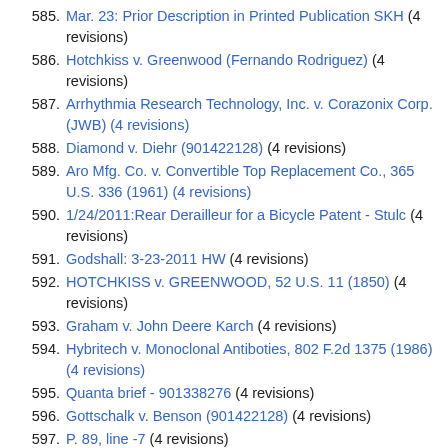585. Mar. 23: Prior Description in Printed Publication SKH (4 revisions)
586. Hotchkiss v. Greenwood (Fernando Rodriguez) (4 revisions)
587. Arrhythmia Research Technology, Inc. v. Corazonix Corp. (JWB) (4 revisions)
588. Diamond v. Diehr (901422128) (4 revisions)
589. Aro Mfg. Co. v. Convertible Top Replacement Co., 365 U.S. 336 (1961) (4 revisions)
590. 1/24/2011:Rear Derailleur for a Bicycle Patent - Stulc (4 revisions)
591. Godshall: 3-23-2011 HW (4 revisions)
592. HOTCHKISS v. GREENWOOD, 52 U.S. 11 (1850) (4 revisions)
593. Graham v. John Deere Karch (4 revisions)
594. Hybritech v. Monoclonal Antiboties, 802 F.2d 1375 (1986) (4 revisions)
595. Quanta brief - 901338276 (4 revisions)
596. Gottschalk v. Benson (901422128) (4 revisions)
597. P. 89, line -7 (4 revisions)
598. Non-Obviousness of 4272947 (4 revisions)
599. Homework 6 - UMC Patent 3,643,513 (Potter) (4 revisions)
600. EB:ARRHYTHMIA RESEARCH TECHNOLOGY, INC. v. CORAZONIX CORP., 958 F.2d 1053 (1992) (4 revisions)
601. Homework 6 - ewolz (4 revisions)
602. Homework due Friday, 1/28/11 (4 revisions)